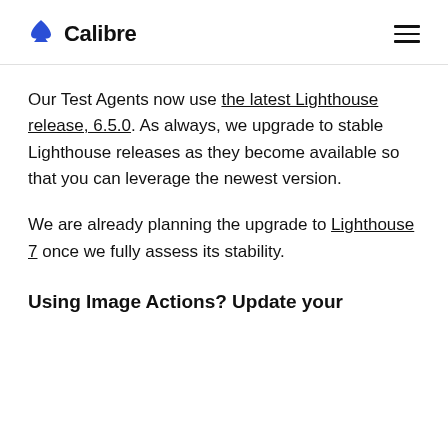Calibre
Our Test Agents now use the latest Lighthouse release, 6.5.0. As always, we upgrade to stable Lighthouse releases as they become available so that you can leverage the newest version.
We are already planning the upgrade to Lighthouse 7 once we fully assess its stability.
Using Image Actions? Update your